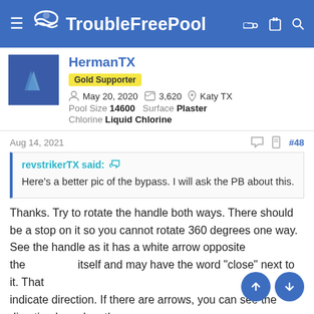TroubleFreePool
HermanTX
Gold Supporter
May 20, 2020   3,620   Katy TX
Pool Size 14600   Surface Plaster
Chlorine Liquid Chlorine
Aug 14, 2021   #48
revstrikerTX said: ↩
Here's a better pic of the bypass. I will ask the PB about this.
Thanks. Try to rotate the handle both ways. There should be a stop on it so you cannot rotate 360 degrees one way.
See the handle as it has a white arrow opposite the handle itself and may have the word "close" next to it. That should indicate direction. If there are arrows, you can see the direction based on those.